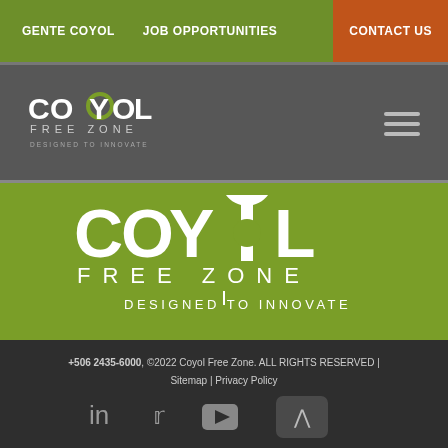GENTE COYOL | JOB OPPORTUNITIES | CONTACT US
[Figure (logo): Coyol Free Zone logo with 'DESIGNED TO INNOVATE' tagline in small header bar]
[Figure (logo): Large Coyol Free Zone logo on green background with 'DESIGNED TO INNOVATE' tagline]
+506 2435-6000, ©2022 Coyol Free Zone. ALL RIGHTS RESERVED | Sitemap | Privacy Policy
[Figure (illustration): Social media icons: LinkedIn, Twitter, YouTube and scroll-to-top button]